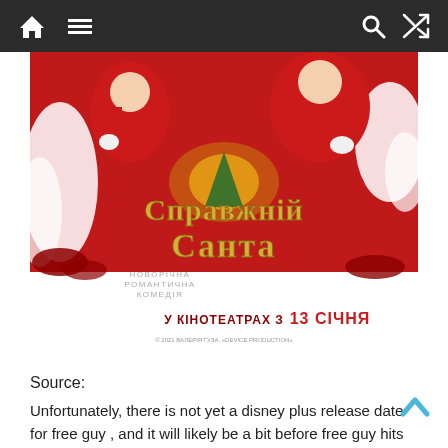Navigation bar with home, menu, search, and shuffle icons
[Figure (illustration): Ukrainian Christmas romantic comedy movie poster titled 'Справжній Санта' (Real Santa) featuring Santa Claus figures in red costumes with gold decorative text and subtitle text 'НОВОРІЧНА РОМАНТИЧНА КОМЕДІЯ' and release info 'У КІНОТЕАТРАХ З 13 СІЧНЯ' and copyright '© 2021 ВАЛЕРІЯ ГУЗА. «DEVICE PRODUCTION»']
Source:
Unfortunately, there is not yet a disney plus release date for free guy , and it will likely be a bit before free guy hits disney+. Free guy drops into theaters (and only theaters) on august 13, 2021.